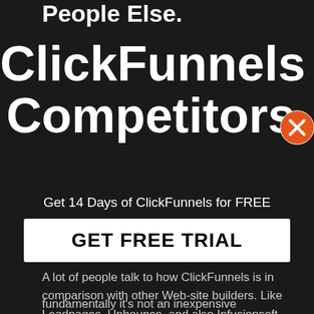People Else.
ClickFunnels Competitors
Get 14 Days of ClickFunnels for FREE
[Figure (other): GET FREE TRIAL button - white rectangle with bold black text]
[Figure (other): Orange circle close/X button in upper right]
A lot of people talk to how ClickFunnels is in comparison with other Web-site builders. Like Leadpages, Unbounce, and also Infusionsoft.
fundamentally it's not an inexpensive comparison. for the reason that each of those tools succeeds is